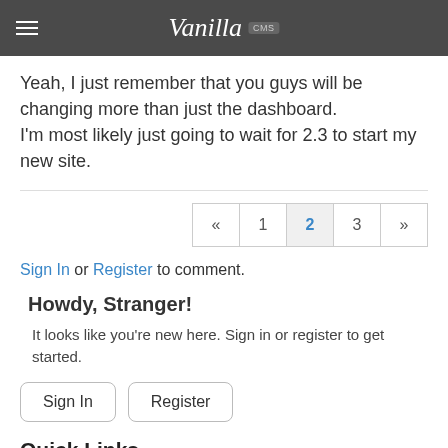Vanilla CMS
Yeah, I just remember that you guys will be changing more than just the dashboard.
I'm most likely just going to wait for 2.3 to start my new site.
« 1 2 3 »
Sign In or Register to comment.
Howdy, Stranger!
It looks like you're new here. Sign in or register to get started.
Sign In   Register
Quick Links
Categories